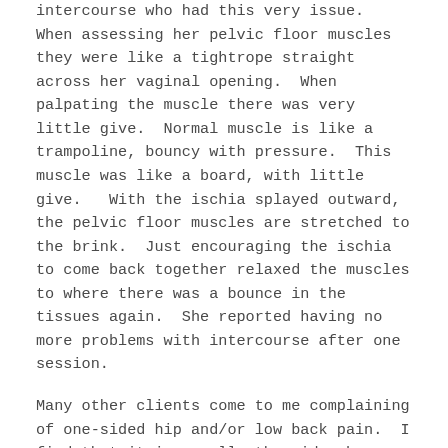intercourse who had this very issue.  When assessing her pelvic floor muscles they were like a tightrope straight across her vaginal opening.  When palpating the muscle there was very little give.  Normal muscle is like a trampoline, bouncy with pressure.  This muscle was like a board, with little give.   With the ischia splayed outward, the pelvic floor muscles are stretched to the brink.  Just encouraging the ischia to come back together relaxed the muscles to where there was a bounce in the tissues again.  She reported having no more problems with intercourse after one session.
Many other clients come to me complaining of one-sided hip and/or low back pain.  I find that it is usually the side where the ischium has not come back to its normal midline position.  After correcting the bony alignment and working to relax the pelvic